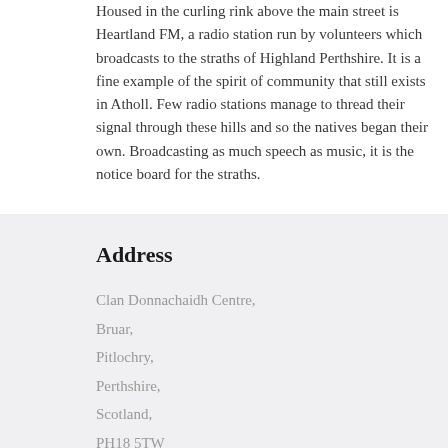Housed in the curling rink above the main street is Heartland FM, a radio station run by volunteers which broadcasts to the straths of Highland Perthshire. It is a fine example of the spirit of community that still exists in Atholl. Few radio stations manage to thread their signal through these hills and so the natives began their own. Broadcasting as much speech as music, it is the notice board for the straths.
Address
Clan Donnachaidh Centre,
Bruar,
Pitlochry,
Perthshire,
Scotland,
PH18 5TW